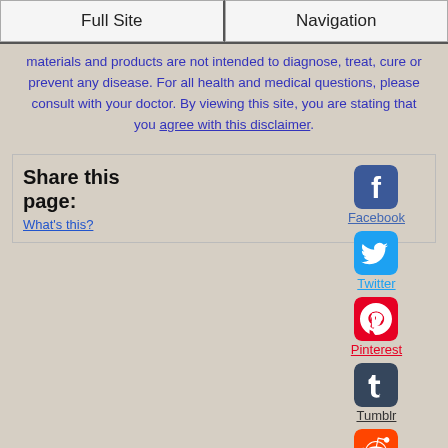Full Site | Navigation
These statements have not been evaluated by the FDA and these materials and products are not intended to diagnose, treat, cure or prevent any disease. For all health and medical questions, please consult with your doctor. By viewing this site, you are stating that you agree with this disclaimer.
Share this page: What's this?
[Figure (infographic): Social share icons for Facebook, Twitter, Pinterest, Tumblr, Reddit arranged vertically with labels]